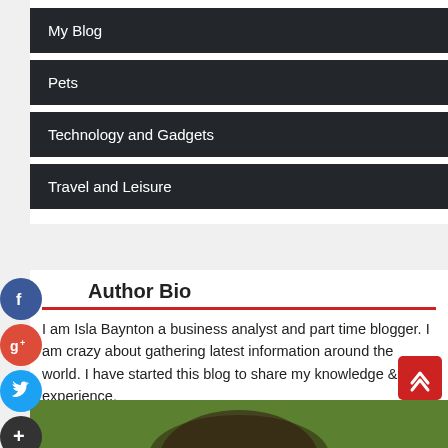My Blog
Pets
Technology and Gadgets
Travel and Leisure
Author Bio
I am Isla Baynton a business analyst and part time blogger. I am crazy about gathering latest information around the world. I have started this blog to share my knowledge & experience.
[Figure (photo): Bottom portion of author photo showing hair and green background]